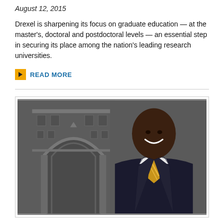August 12, 2015
Drexel is sharpening its focus on graduate education — at the master's, doctoral and postdoctoral levels — an essential step in securing its place among the nation's leading research universities.
READ MORE
[Figure (photo): Professional headshot of a smiling man in a dark pinstripe suit and gold/white striped tie, with a faded architectural building facade (arched entrance) visible in the background left.]